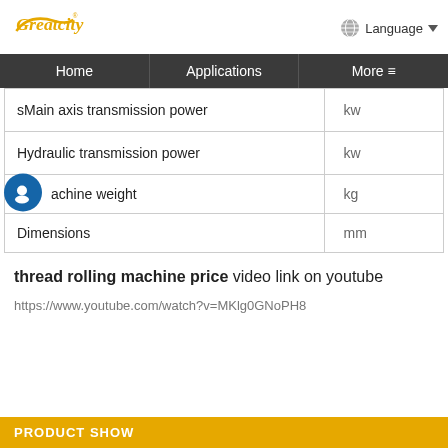Greatcity | Language
| Parameter | Unit |
| --- | --- |
| sMain axis transmission power | kw |
| Hydraulic transmission power | kw |
| Machine weight | kg |
| Dimensions | mm |
thread rolling machine price  video link on youtube
https://www.youtube.com/watch?v=MKlg0GNoPH8
PRODUCT SHOW